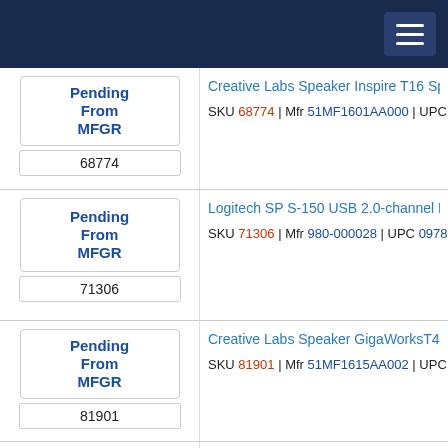Creative Labs Speaker Inspire T16 Speaker System | SKU 68774 | Mfr 51MF1601AA000 | UPC 054651152540
Logitech SP S-150 USB 2.0-channel Digital Speaker | SKU 71306 | Mfr 980-000028 | UPC 097855045898
Creative Labs Speaker GigaWorksT40 Speaker System | SKU 81901 | Mfr 51MF1615AA002 | UPC 054651161177
Creative Labs Speaker GigaWorks T20 Series II System | SKU 82627 | Mfr 51MF1618AA015 | UPC 054651161146